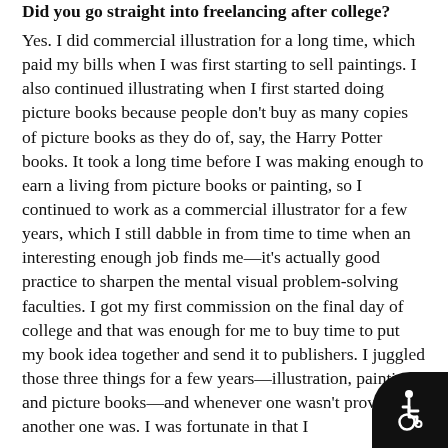Did you go straight into freelancing after college?
Yes. I did commercial illustration for a long time, which paid my bills when I was first starting to sell paintings. I also continued illustrating when I first started doing picture books because people don't buy as many copies of picture books as they do of, say, the Harry Potter books. It took a long time before I was making enough to earn a living from picture books or painting, so I continued to work as a commercial illustrator for a few years, which I still dabble in from time to time when an interesting enough job finds me—it's actually good practice to sharpen the mental visual problem-solving faculties. I got my first commission on the final day of college and that was enough for me to buy time to put my book idea together and send it to publishers. I juggled those three things for a few years—illustration, painting, and picture books—and whenever one wasn't providing, another one was. I was fortunate in that I
[Figure (illustration): Wheelchair accessibility icon: white stylized figure in wheelchair on black rounded background, bottom-right corner]